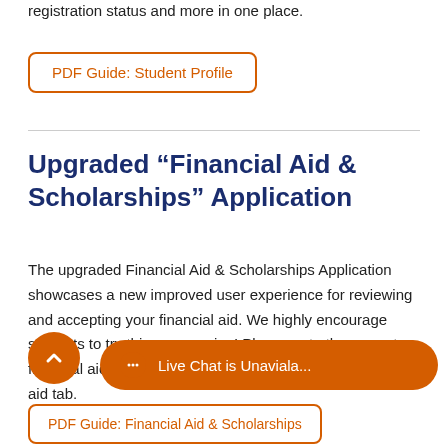registration status and more in one place.
PDF Guide: Student Profile
Upgraded “Financial Aid & Scholarships” Application
The upgraded Financial Aid & Scholarships Application showcases a new improved user experience for reviewing and accepting your financial aid. We highly encourage students to try this new version! Please note the current financial aid links will still be available under the financial aid tab.
PDF Guide: Financial Aid & Scholarships